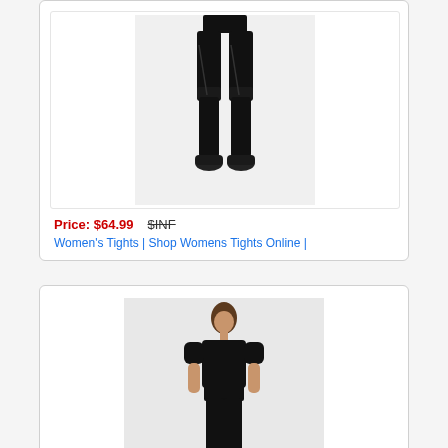[Figure (photo): Woman wearing black athletic tights/leggings shown from waist down, standing pose, wearing black sneakers, product photo on white background]
Price: $64.99   $INF
Women's Tights | Shop Womens Tights Online |
[Figure (photo): Woman wearing black athletic outfit including black t-shirt and black tights/leggings, full body pose, product photo on light background]